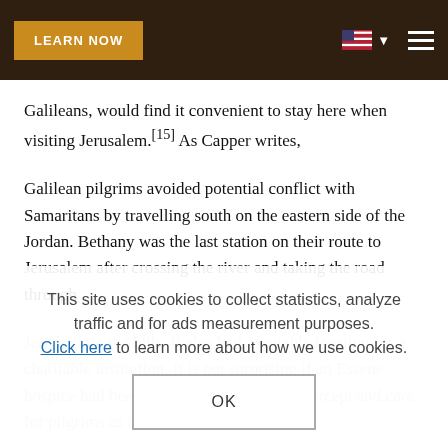LEARN NOW [navigation bar with flag and hamburger menu]
Galileans, would find it convenient to stay here when visiting Jerusalem.[15] As Capper writes,
Galilean pilgrims avoided potential conflict with Samaritans by travelling south on the eastern side of the Jordan. Bethany was the last station on their route to Jerusalem after crossing the river and taking the road through
Jericho into the hills. It also had a suitable location for a charitable institution. It is not surprising if an Essene hospice had been established nearby to intercept and care for pilgrims as they journeyed to
This site uses cookies to collect statistics, analyze traffic and for ads measurement purposes. Click here to learn more about how we use cookies.
OK